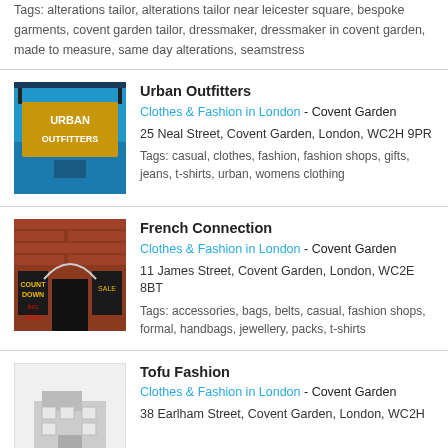Tags: alterations tailor, alterations tailor near leicester square, bespoke garments, covent garden tailor, dressmaker, dressmaker in covent garden, made to measure, same day alterations, seamstress
Urban Outfitters
Clothes & Fashion in London - Covent Garden
25 Neal Street, Covent Garden, London, WC2H 9PR
Tags: casual, clothes, fashion, fashion shops, gifts, jeans, t-shirts, urban, womens clothing
French Connection
Clothes & Fashion in London - Covent Garden
11 James Street, Covent Garden, London, WC2E 8BT
Tags: accessories, bags, belts, casual, fashion shops, formal, handbags, jewellery, packs, t-shirts
Tofu Fashion
Clothes & Fashion in London - Covent Garden
38 Earlham Street, Covent Garden, London, WC2H